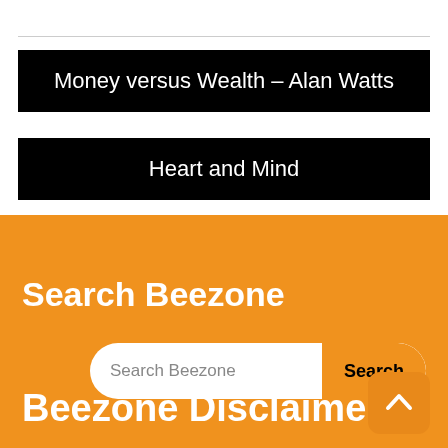Money versus Wealth – Alan Watts
Heart and Mind
Search Beezone
Search Beezone
Search
Beezone Disclaimer